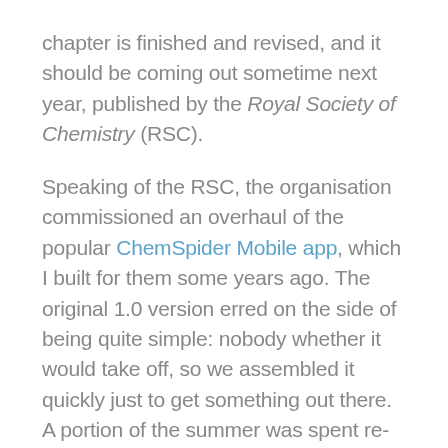chapter is finished and revised, and it should be coming out sometime next year, published by the Royal Society of Chemistry (RSC).

Speaking of the RSC, the organisation commissioned an overhaul of the popular ChemSpider Mobile app, which I built for them some years ago. The original 1.0 version erred on the side of being quite simple: nobody whether it would take off, so we assembled it quickly just to get something out there. A portion of the summer was spent re-skinning the app to make it look nice on iOS 7, and to give it the degree of functionality it deserves: advanced searches,